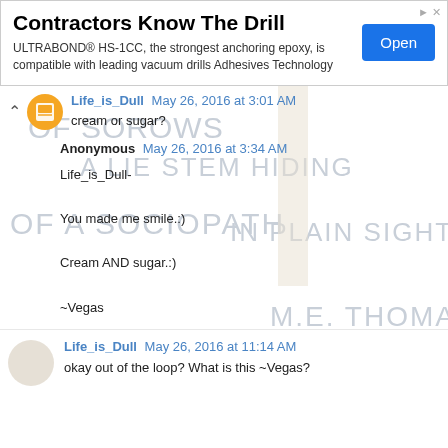[Figure (screenshot): Advertisement banner for ULTRABOND HS-1CC anchoring epoxy with 'Open' button]
cream or sugar?
Life_is_Dull May 26, 2016 at 3:01 AM
Anonymous May 26, 2016 at 3:34 AM
Life_is_Dull-

You made me smile.:)

Cream AND sugar.:)

~Vegas
Life_is_Dull May 26, 2016 at 11:14 AM
okay out of the loop? What is this ~Vegas?